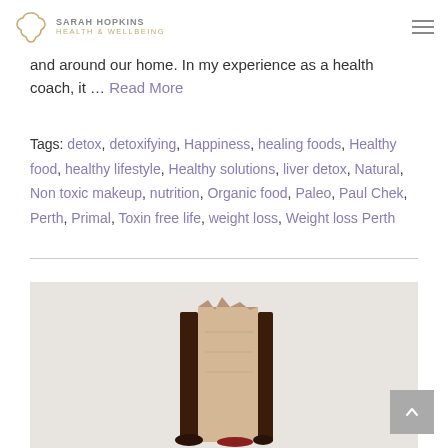SARAH HOPKINS HEALTH & WELLBEING
and around our home. In my experience as a health coach, it … Read More
Tags: detox, detoxifying, Happiness, healing foods, Healthy food, healthy lifestyle, Healthy solutions, liver detox, Natural, Non toxic makeup, nutrition, Organic food, Paleo, Paul Chek, Perth, Primal, Toxin free life, weight loss, Weight loss Perth
[Figure (photo): Photo of a chocolate-coated food item (appears to be a chocolate bar or dessert) against a light beige background]